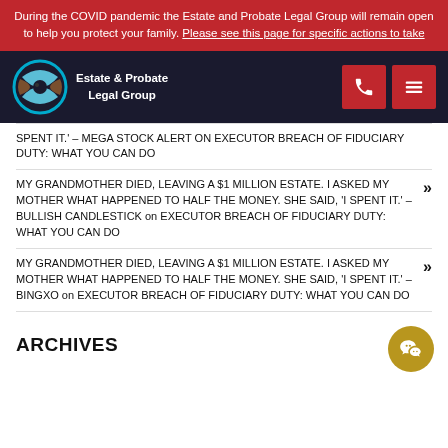During the COVID pandemic the Estate and Probate Legal Group will remain open to help you protect your family. Please see this page for specific actions to take
[Figure (logo): Estate & Probate Legal Group logo with circular teal and brown icon and navigation buttons]
SPENT IT.' – MEGA STOCK ALERT on EXECUTOR BREACH OF FIDUCIARY DUTY: WHAT YOU CAN DO
MY GRANDMOTHER DIED, LEAVING A $1 MILLION ESTATE. I ASKED MY MOTHER WHAT HAPPENED TO HALF THE MONEY. SHE SAID, 'I SPENT IT.' – BULLISH CANDLESTICK on EXECUTOR BREACH OF FIDUCIARY DUTY: WHAT YOU CAN DO
MY GRANDMOTHER DIED, LEAVING A $1 MILLION ESTATE. I ASKED MY MOTHER WHAT HAPPENED TO HALF THE MONEY. SHE SAID, 'I SPENT IT.' – BINGXO on EXECUTOR BREACH OF FIDUCIARY DUTY: WHAT YOU CAN DO
ARCHIVES